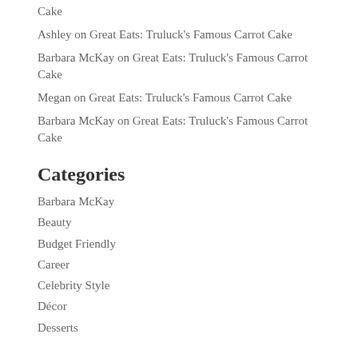Cake
Ashley on Great Eats: Truluck's Famous Carrot Cake
Barbara McKay on Great Eats: Truluck's Famous Carrot Cake
Megan on Great Eats: Truluck's Famous Carrot Cake
Barbara McKay on Great Eats: Truluck's Famous Carrot Cake
Categories
Barbara McKay
Beauty
Budget Friendly
Career
Celebrity Style
Décor
Desserts